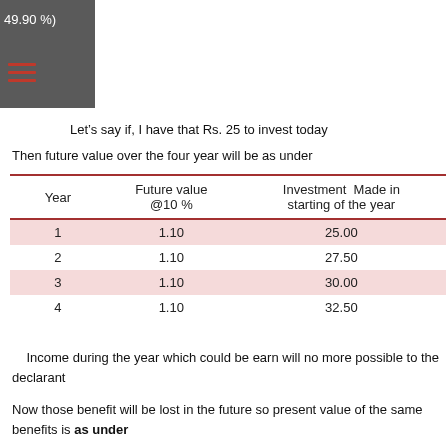49.90 %)
Let’s say if, I have that Rs. 25 to invest today
Then future value over the four year will be as under
| Year | Future value @10 % | Investment  Made in starting of the year |
| --- | --- | --- |
| 1 | 1.10 | 25.00 |
| 2 | 1.10 | 27.50 |
| 3 | 1.10 | 30.00 |
| 4 | 1.10 | 32.50 |
Income during the year which could be earn will no more possible to the declarant
Now those benefit will be lost in the future so present value of the same benefits is as under